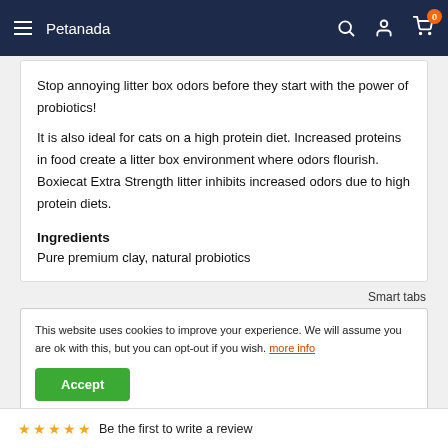Petanada
Stop annoying litter box odors before they start with the power of probiotics!
It is also ideal for cats on a high protein diet. Increased proteins in food create a litter box environment where odors flourish. Boxiecat Extra Strength litter inhibits increased odors due to high protein diets.
Ingredients
Pure premium clay, natural probiotics
Smart tabs
This website uses cookies to improve your experience. We will assume you are ok with this, but you can opt-out if you wish. more info
Be the first to write a review